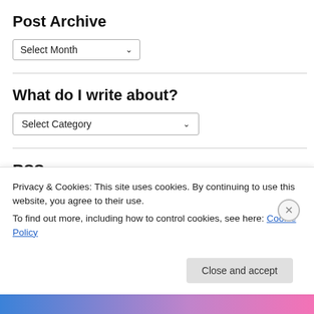Post Archive
[Figure (other): Dropdown selector showing 'Select Month' with a chevron arrow]
What do I write about?
[Figure (other): Dropdown selector showing 'Select Category' with a chevron arrow]
RSS
RSS - Posts
RSS - Comments (partially visible)
Privacy & Cookies: This site uses cookies. By continuing to use this website, you agree to their use.
To find out more, including how to control cookies, see here: Cookie Policy
Close and accept